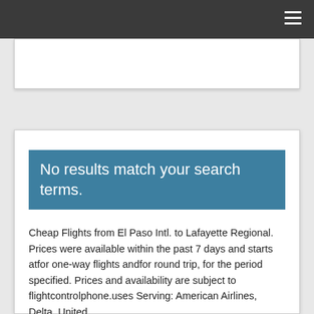[Figure (other): White search/input box area]
No results match your search terms.
Cheap Flights from El Paso Intl. to Lafayette Regional. Prices were available within the past 7 days and starts atfor one-way flights andfor round trip, for the period specified. Prices and availability are subject to flightcontrolphone.uses Serving: American Airlines, Delta, United.